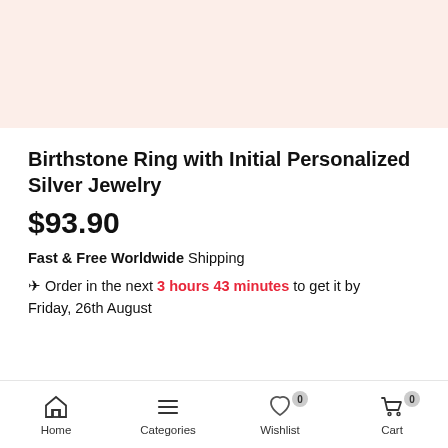[Figure (photo): Product image placeholder — light pink/salmon background]
Birthstone Ring with Initial Personalized Silver Jewelry
$93.90
Fast & Free Worldwide Shipping
✈ Order in the next 3 hours 43 minutes to get it by Friday, 26th August
Home  Categories  Wishlist 0  Cart 0